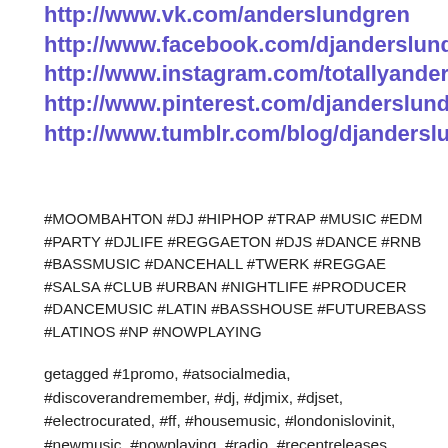http://www.vk.com/anderslundgren
http://www.facebook.com/djanderslundgren
http://www.instagram.com/totallyanders
http://www.pinterest.com/djanderslundgren/
http://www.tumblr.com/blog/djanderslundgren
#MOOMBAHTON #DJ #HIPHOP #TRAP #MUSIC #EDM #PARTY #DJLIFE #REGGAETON #DJS #DANCE #RNB #BASSMUSIC #DANCEHALL #TWERK #REGGAE #SALSA #CLUB #URBAN #NIGHTLIFE #PRODUCER #DANCEMUSIC #LATIN #BASSHOUSE #FUTUREBASS #LATINOS #NP #NOWPLAYING
getagged #1promo, #atsocialmedia, #discoverandremember, #dj, #djmix, #djset, #electrocurated, #ff, #housemusic, #londonislovinit, #newmusic, #nowplaying, #radio, #recentreleases, #retwitter, #soundloud, #techhouse, #techno, amazing, amsterdam, big room, cool, dance,